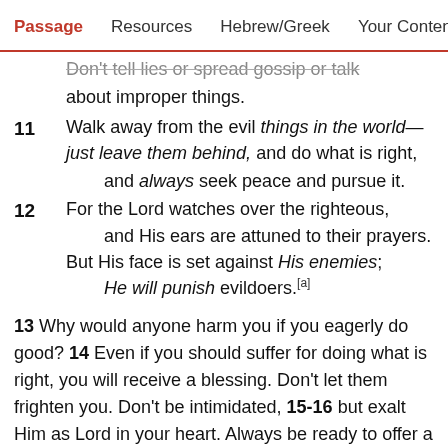Passage   Resources   Hebrew/Greek   Your Cont(>)
Don't tell lies or spread gossip or talk about improper things.
11 Walk away from the evil things in the world—just leave them behind, and do what is right,
and always seek peace and pursue it.
12 For the Lord watches over the righteous, and His ears are attuned to their prayers. But His face is set against His enemies; He will punish evildoers.[a]
13 Why would anyone harm you if you eagerly do good? 14 Even if you should suffer for doing what is right, you will receive a blessing. Don't let them frighten you. Don't be intimidated, 15-16 but exalt Him as Lord in your heart. Always be ready to offer a defense, humbly and respectfully, when